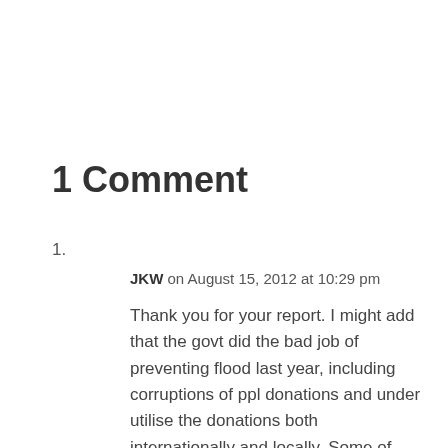1 Comment
1.
JKW on August 15, 2012 at 10:29 pm
Thank you for your report. I might add that the govt did the bad job of preventing flood last year, including corruptions of ppl donations and under utilise the donations both internationally and locally. Some of donated goods were left lying under